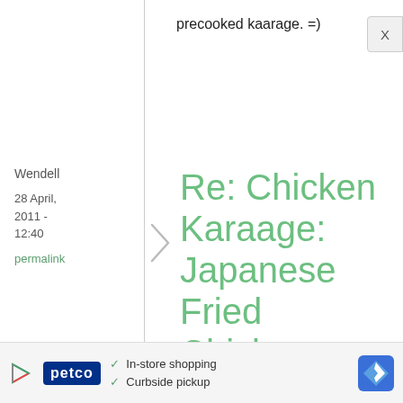precooked kaarage. =)
Wendell
28 April, 2011 - 12:40
permalink
Re: Chicken Karaage: Japanese Fried Chicken
I tried it a few years ago and it is usually the only way I like to cook
[Figure (other): Ad banner for Petco showing in-store shopping and curbside pickup options with direction icon]